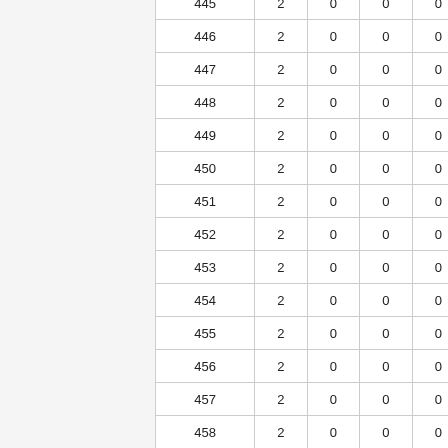| 445 | 2 | 0 | 0 | 0 |
| 446 | 2 | 0 | 0 | 0 |
| 447 | 2 | 0 | 0 | 0 |
| 448 | 2 | 0 | 0 | 0 |
| 449 | 2 | 0 | 0 | 0 |
| 450 | 2 | 0 | 0 | 0 |
| 451 | 2 | 0 | 0 | 0 |
| 452 | 2 | 0 | 0 | 0 |
| 453 | 2 | 0 | 0 | 0 |
| 454 | 2 | 0 | 0 | 0 |
| 455 | 2 | 0 | 0 | 0 |
| 456 | 2 | 0 | 0 | 0 |
| 457 | 2 | 0 | 0 | 0 |
| 458 | 2 | 0 | 0 | 0 |
| 459 | 2 | 0 | 0 | 0 |
| 460 | 2 | 0 | 0 | 0 |
| 461 | 2 | 0 | 0 | 0 |
| 462 | 2 | 0 | 0 | 0 |
| 463 | 2 | 0 | 0 | 0 |